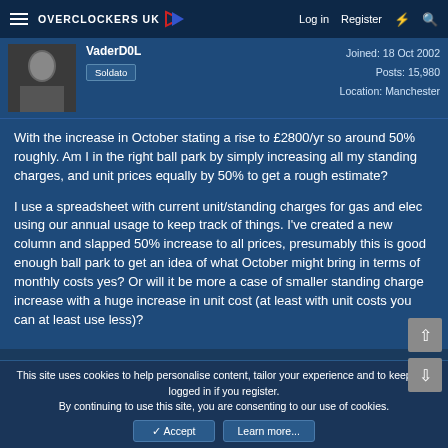OVERCLOCKERS UK | Log in | Register
VaderD0L
Soldato
Joined: 18 Oct 2002
Posts: 15,980
Location: Manchester
With the increase in October stating a rise to £2800/yr so around 50% roughly. Am I in the right ball park by simply increasing all my standing charges, and unit prices equally by 50% to get a rough estimate?

I use a spreadsheet with current unit/standing charges for gas and elec using our annual usage to keep track of things. I've created a new column and slapped 50% increase to all prices, presumably this is good enough ball park to get an idea of what October might bring in terms of monthly costs yes? Or will it be more a case of smaller standing charge increase with a huge increase in unit cost (at least with unit costs you can at least use less)?
This site uses cookies to help personalise content, tailor your experience and to keep you logged in if you register.
By continuing to use this site, you are consenting to our use of cookies.
✓ Accept | Learn more...